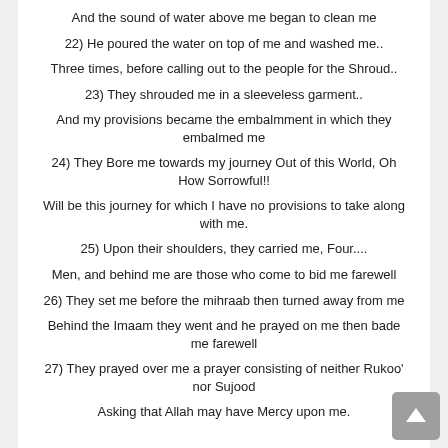And the sound of water above me began to clean me
22) He poured the water on top of me and washed me..
Three times, before calling out to the people for the Shroud..
23) They shrouded me in a sleeveless garment..
And my provisions became the embalmment in which they embalmed me
24) They Bore me towards my journey Out of this World, Oh How Sorrowful!!
Will be this journey for which I have no provisions to take along with me.
25) Upon their shoulders, they carried me, Four....
Men, and behind me are those who come to bid me farewell
26) They set me before the mihraab then turned away from me
Behind the Imaam they went and he prayed on me then bade me farewell
27) They prayed over me a prayer consisting of neither Rukoo' nor Sujood
Asking that Allah may have Mercy upon me.